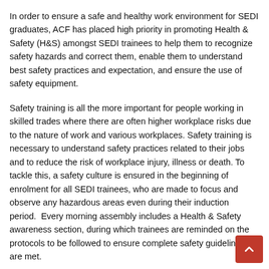In order to ensure a safe and healthy work environment for SEDI graduates, ACF has placed high priority in promoting Health & Safety (H&S) amongst SEDI trainees to help them to recognize safety hazards and correct them, enable them to understand best safety practices and expectation, and ensure the use of safety equipment.
Safety training is all the more important for people working in skilled trades where there are often higher workplace risks due to the nature of work and various workplaces. Safety training is necessary to understand safety practices related to their jobs and to reduce the risk of workplace injury, illness or death. To tackle this, a safety culture is ensured in the beginning of enrolment for all SEDI trainees, who are made to focus and observe any hazardous areas even during their induction period. Every morning assembly includes a Health & Safety awareness section, during which trainees are reminded on the protocols to be followed to ensure complete safety guidelines are met.